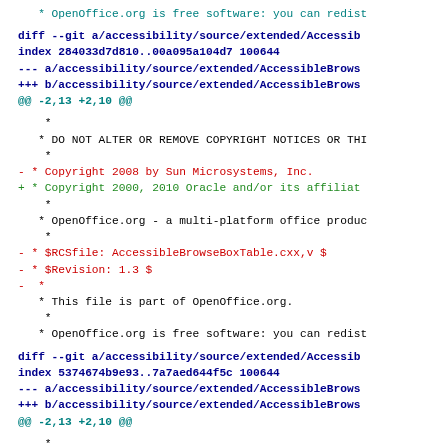* OpenOffice.org is free software: you can redist
diff --git a/accessibility/source/extended/Accessib
index 284033d7d810..00a095a104d7 100644
--- a/accessibility/source/extended/AccessibleBrows
+++ b/accessibility/source/extended/AccessibleBrows
@@ -2,13 +2,10 @@
*
   * DO NOT ALTER OR REMOVE COPYRIGHT NOTICES OR THI
    *
- * Copyright 2008 by Sun Microsystems, Inc.
+ * Copyright 2000, 2010 Oracle and/or its affiliat
    *
   * OpenOffice.org - a multi-platform office produc
    *
- * $RCSfile: AccessibleBrowseBoxTable.cxx,v $
- * $Revision: 1.3 $
-  *
   * This file is part of OpenOffice.org.
    *
   * OpenOffice.org is free software: you can redist
diff --git a/accessibility/source/extended/Accessib
index 5374674b9e93..7a7aed644f5c 100644
--- a/accessibility/source/extended/AccessibleBrows
+++ b/accessibility/source/extended/AccessibleBrows
@@ -2,13 +2,10 @@
*
   * DO NOT ALTER OR REMOVE COPYRIGHT NOTICES OR THI
    *